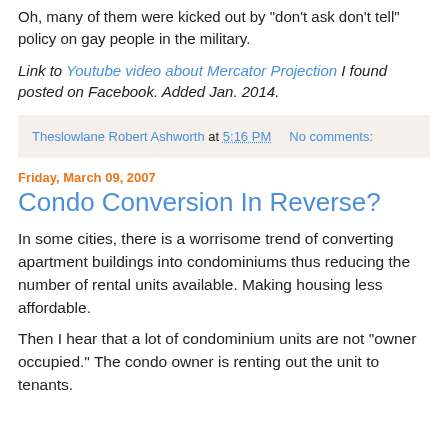Oh, many of them were kicked out by "don't ask don't tell" policy on gay people in the military.
Link to Youtube video about Mercator Projection I found posted on Facebook. Added Jan. 2014.
Theslowlane Robert Ashworth at 5:16 PM    No comments:
Friday, March 09, 2007
Condo Conversion In Reverse?
In some cities, there is a worrisome trend of converting apartment buildings into condominiums thus reducing the number of rental units available. Making housing less affordable.
Then I hear that a lot of condominium units are not "owner occupied." The condo owner is renting out the unit to tenants.